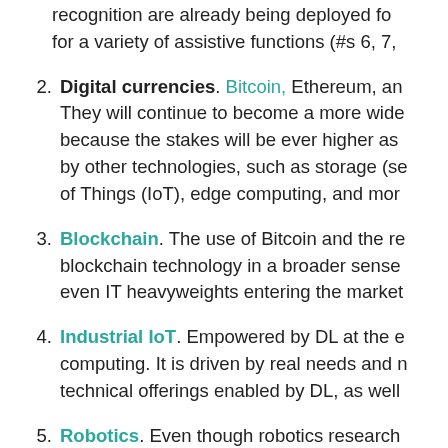recognition are already being deployed for a variety of assistive functions (#s 6, 7,
2. Digital currencies. Bitcoin, Ethereum, and… They will continue to become a more wide… because the stakes will be ever higher as… by other technologies, such as storage (se… of Things (IoT), edge computing, and mor…
3. Blockchain. The use of Bitcoin and the re… blockchain technology in a broader sense… even IT heavyweights entering the market…
4. Industrial IoT. Empowered by DL at the e… computing. It is driven by real needs and n… technical offerings enabled by DL, as well…
5. Robotics. Even though robotics research… However, the past few years have seen in…